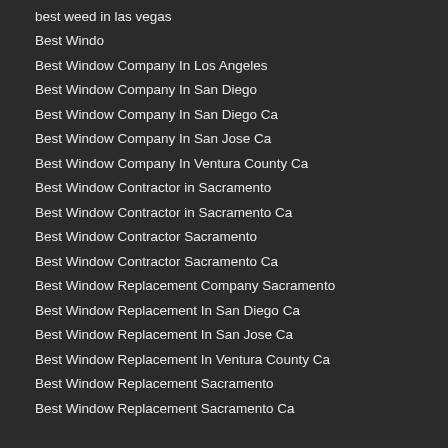best weed in las vegas
Best Windo
Best Window Company In Los Angeles
Best Window Company In San Diego
Best Window Company In San Diego Ca
Best Window Company In San Jose Ca
Best Window Company In Ventura County Ca
Best Window Contractor in Sacramento
Best Window Contractor in Sacramento Ca
Best Window Contractor Sacramento
Best Window Contractor Sacramento Ca
Best Window Replacement Company Sacramento
Best Window Replacement In San Diego Ca
Best Window Replacement In San Jose Ca
Best Window Replacement In Ventura County Ca
Best Window Replacement Sacramento
Best Window Replacement Sacramento Ca